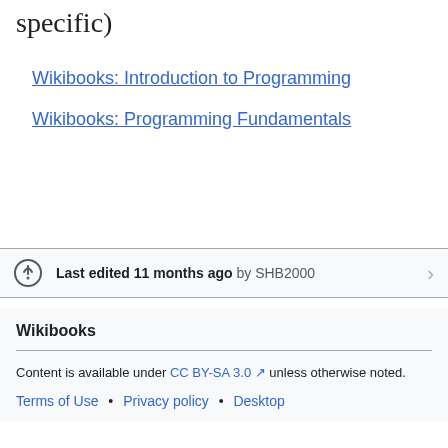specific)
Wikibooks: Introduction to Programming
Wikibooks: Programming Fundamentals
Last edited 11 months ago by SHB2000
Wikibooks
Content is available under CC BY-SA 3.0 unless otherwise noted.
Terms of Use • Privacy policy • Desktop